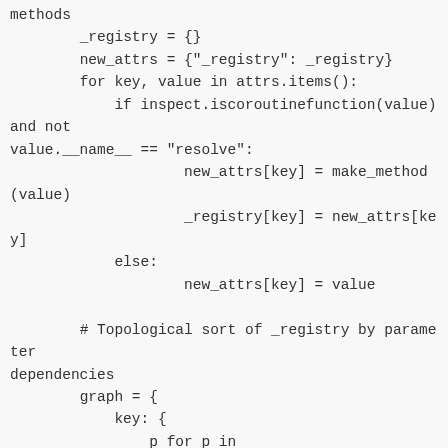methods
    _registry = {}
    new_attrs = {"_registry": _registry}
    for key, value in attrs.items():
        if inspect.iscoroutinefunction(value) and not value.__name__ == "resolve":
                new_attrs[key] = make_method(value)
                _registry[key] = new_attrs[key]
        else:
                new_attrs[key] = value

        # Topological sort of _registry by parameter dependencies
        graph = {
            key: {
                p for p in
 inspect.signature(method).parameters.keys()
                if p != "self" and not p.startswith("_")
        }
        for ...